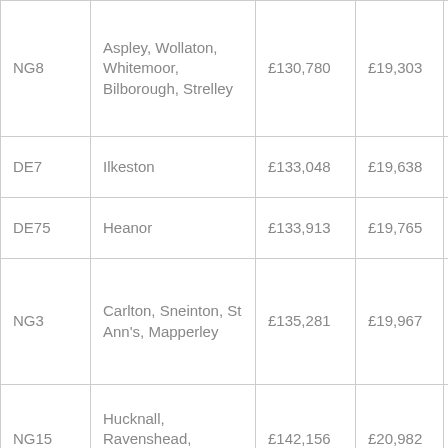| Postcode | Area | Value 1 | Value 2 | Value 3 (partial) |
| --- | --- | --- | --- | --- |
| NG8 | Aspley, Wollaton, Whitemoor, Bilborough, Strelley | £130,780 | £19,303 | £ |
| DE7 | Ilkeston | £133,048 | £19,638 | £ |
| DE75 | Heanor | £133,913 | £19,765 | £ |
| NG3 | Carlton, Sneinton, St Ann's, Mapperley | £135,281 | £19,967 | £ |
| NG15 | Hucknall, Ravenshead, Newstead | £142,156 | £20,982 | £ |
| NG11 | Clifton, Ruddington, Gotham, Kingston on Soar | £142,393 | £21,017 | £ |